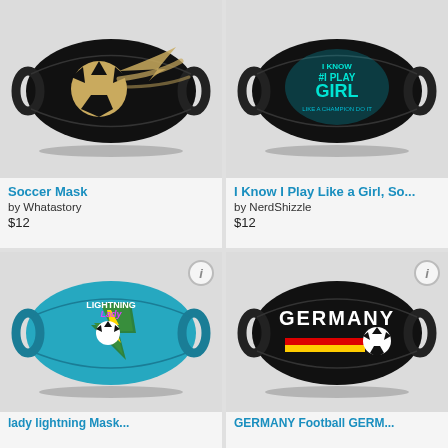[Figure (photo): Black face mask with gold soccer ball and swoosh design]
Soccer Mask
by Whatastory
$12
[Figure (photo): Black face mask with teal text 'I Know I Play Like a Girl']
I Know I Play Like a Girl, So...
by NerdShizzle
$12
[Figure (photo): Blue face mask with Lady Lightning soccer team logo]
lady lightning Mask...
[Figure (photo): Black face mask with GERMANY text, German flag stripes, and soccer ball]
GERMANY Football GERM...